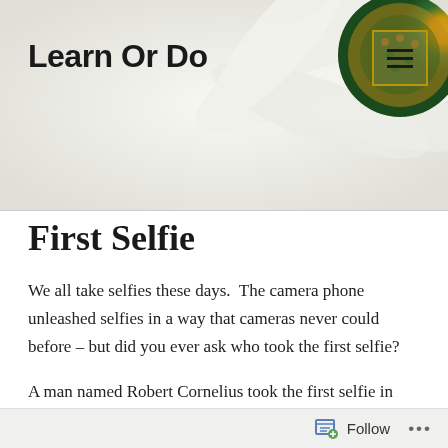[Figure (photo): Close-up photograph of a white daisy flower with yellow center, serving as website header background]
Learn Or Do
First Selfie
We all take selfies these days.  The camera phone unleashed selfies in a way that cameras never could before – but did you ever ask who took the first selfie?
A man named Robert Cornelius took the first selfie in 1839 while trying to find a way to improve the daguerreotype process.  Not familiar with daguerreotypes?  Ever seen a picture from the Civil War
Follow